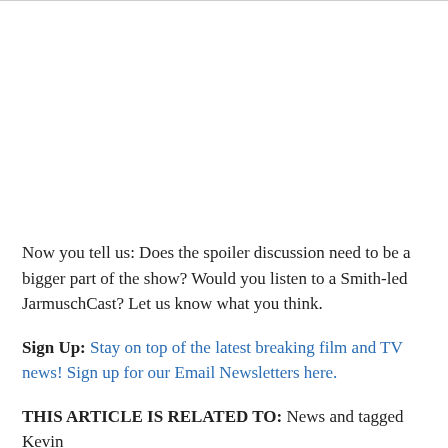Now you tell us: Does the spoiler discussion need to be a bigger part of the show? Would you listen to a Smith-led JarmuschCast? Let us know what you think.
Sign Up: Stay on top of the latest breaking film and TV news! Sign up for our Email Newsletters here.
THIS ARTICLE IS RELATED TO: News and tagged Kevin